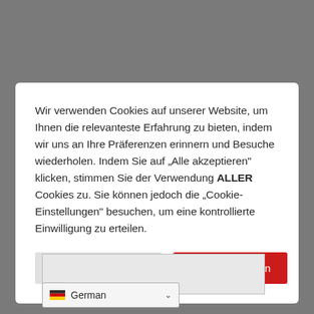[Figure (screenshot): Cookie consent modal dialog on a grey dimmed background. The modal contains German text about cookie usage, a 'Cookie Einstellungen' (light grey) button and an 'Alles Akzeptieren' (red) button. At the bottom of the page is a German language selector with a German flag.]